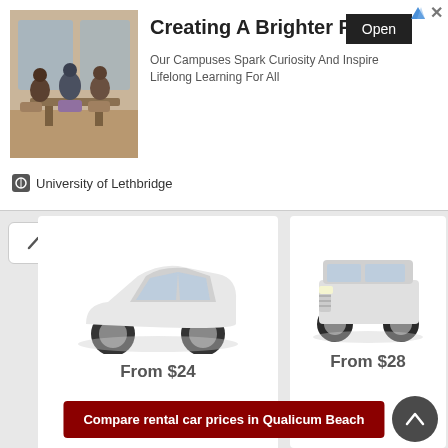[Figure (screenshot): Advertisement banner for University of Lethbridge — 'Creating A Brighter Future', with photo of people on campus, Open button, and university logo]
[Figure (photo): White sedan car (Ford Fusion style) — card showing From $24]
From $24
[Figure (photo): White SUV/Jeep Renegade style car — card showing From $28]
From $28
Vans
[Figure (photo): White van (Ford Transit style) — card showing Vans, From $40]
From $40
Compare rental car prices in Qualicum Beach